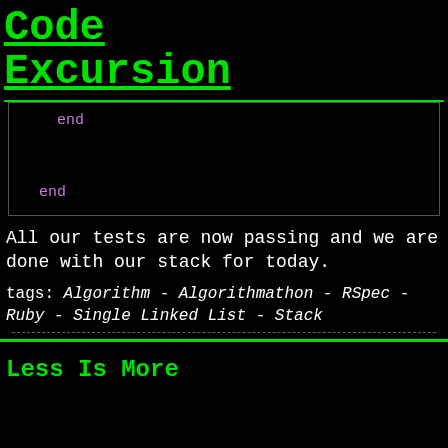Code Excursion
[Figure (screenshot): Code snippet box showing two 'end' keywords in purple monospace text on black background with grey border]
All our tests are now passing and we are done with our stack for today.
tags: Algorithm - Algorithmathon - RSpec - Ruby - Single Linked List - Stack
Less Is More